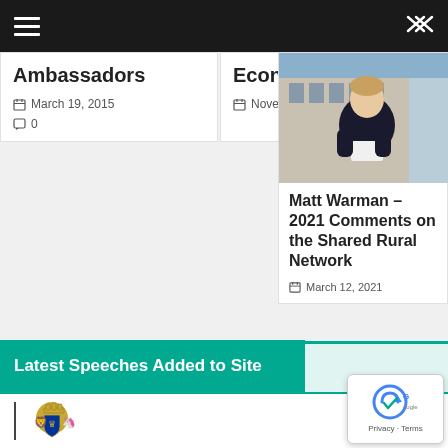Navigation bar with hamburger menu and shuffle icon
Ambassadors
March 19, 2015
0
Economy
November 28, 2015
[Figure (photo): Photo of Matt Warman, a man in a dark suit with white shirt, seated outdoors with a classical building in the background]
Matt Warman – 2021 Comments on the Shared Rural Network
March 12, 2021
Latest Speeches Added to Site
[Figure (logo): UK Government crest / coat of arms logo at bottom of page]
[Figure (logo): reCAPTCHA Privacy badge with Google branding]